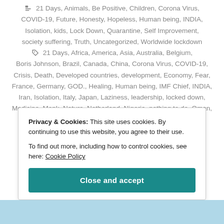21 Days, Animals, Be Positive, Children, Corona Virus, COVID-19, Future, Honesty, Hopeless, Human being, INDIA, Isolation, kids, Lock Down, Quarantine, Self Improvement, society suffering, Truth, Uncategorized, Worldwide lockdown
21 Days, Africa, America, Asia, Australia, Belgium, Boris Johnson, Brazil, Canada, China, Corona Virus, COVID-19, Crisis, Death, Developed countries, development, Economy, Fear, France, Germany, GOD., Healing, Human being, IMF Chief, INDIA, Iran, Isolation, Italy, Japan, Laziness, leadership, locked down, Medicine, Monk, Nature, Netherland, Nigeria, nothing to do, Oman, Portugal, Prince Charles, Recession, Robin Sharma, Romania,
Privacy & Cookies: This site uses cookies. By continuing to use this website, you agree to their use.
To find out more, including how to control cookies, see here: Cookie Policy